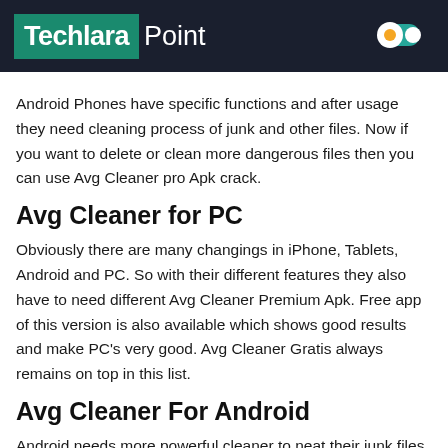Techlara Point
Android Phones have specific functions and after usage they need cleaning process of junk and other files. Now if you want to delete or clean more dangerous files then you can use Avg Cleaner pro Apk crack.
Avg Cleaner for PC
Obviously there are many changings in iPhone, Tablets, Android and PC. So with their different features they also have to need different Avg Cleaner Premium Apk. Free app of this version is also available which shows good results and make PC's very good. Avg Cleaner Gratis always remains on top in this list.
Avg Cleaner For Android
Android needs more powerful cleaner to neat their junk files